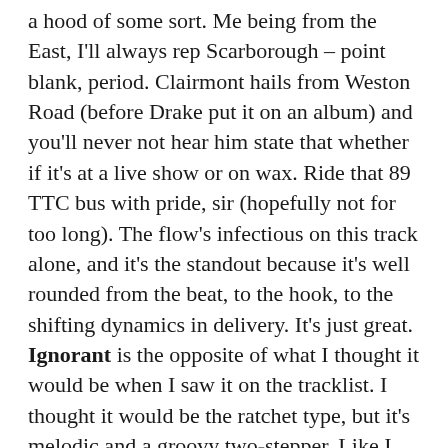a hood of some sort. Me being from the East, I'll always rep Scarborough – point blank, period. Clairmont hails from Weston Road (before Drake put it on an album) and you'll never not hear him state that whether if it's at a live show or on wax. Ride that 89 TTC bus with pride, sir (hopefully not for too long). The flow's infectious on this track alone, and it's the standout because it's well rounded from the beat, to the hook, to the shifting dynamics in delivery. It's just great. Ignorant is the opposite of what I thought it would be when I saw it on the tracklist. I thought it would be the ratchet type, but it's melodic and a groovy two-stepper. Like I almost felt the need to break off a salsa step or two just for the feel. Healthy sonic balance on this album. Not too much of one particular sound or the other. This would likely be the 3rd act of the movie because it gets into a theme that digs into his faith and his experience growing up in Church. It gives me a vibe that I got from Kendrick